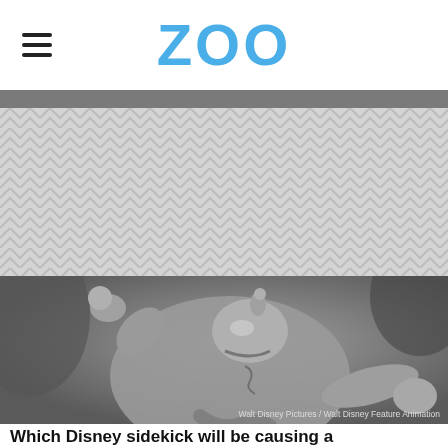ZOO
[Figure (other): Advertisement placeholder area with light gray background and subtle chevron/zigzag pattern]
[Figure (illustration): Grayscale illustration of the Genie character from Disney's Aladdin, arms outstretched, with image credit: Walt Disney Pictures / Walt Disney Feature Animation]
Which Disney sidekick will be causing a